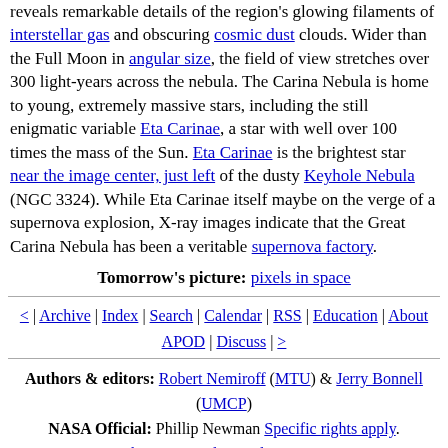reveals remarkable details of the region's glowing filaments of interstellar gas and obscuring cosmic dust clouds. Wider than the Full Moon in angular size, the field of view stretches over 300 light-years across the nebula. The Carina Nebula is home to young, extremely massive stars, including the still enigmatic variable Eta Carinae, a star with well over 100 times the mass of the Sun. Eta Carinae is the brightest star near the image center, just left of the dusty Keyhole Nebula (NGC 3324). While Eta Carinae itself maybe on the verge of a supernova explosion, X-ray images indicate that the Great Carina Nebula has been a veritable supernova factory.
Tomorrow's picture: pixels in space
< | Archive | Index | Search | Calendar | RSS | Education | About APOD | Discuss | >
Authors & editors: Robert Nemiroff (MTU) & Jerry Bonnell (UMCP)
NASA Official: Phillip Newman Specific rights apply.
NASA Web Privacy Policy and Important Notices
A service of: ASD at NASA / GSFC
& Michigan Tech. U.